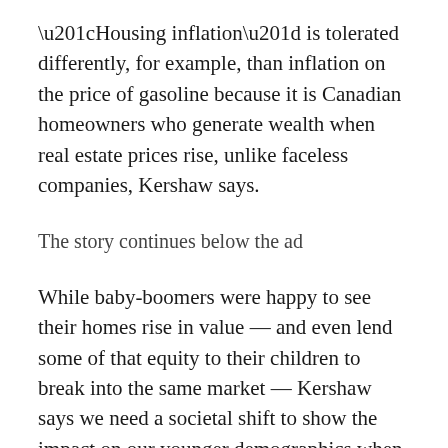“Housing inflation” is tolerated differently, for example, than inflation on the price of gasoline because it is Canadian homeowners who generate wealth when real estate prices rise, unlike faceless companies, Kershaw says.
The story continues below the ad
While baby-boomers were happy to see their homes rise in value — and even lend some of that equity to their children to break into the same market — Kershaw says we need a societal shift to show the impact on our younger demographics when he predicts only higher home prices.
“We wanted housing to be this great grower of